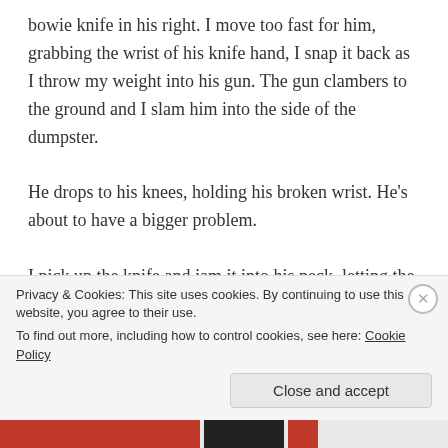bowie knife in his right. I move too fast for him, grabbing the wrist of his knife hand, I snap it back as I throw my weight into his gun. The gun clambers to the ground and I slam him into the side of the dumpster.
He drops to his knees, holding his broken wrist. He's about to have a bigger problem.
I pick up the knife and jam it into his neck, letting the blade slip under the helmet. I stop when the handle hits his chin. He spasms, gurgles, and starts to slump over. I catch him, yank off his helmet, then let his body fall. The blood makes my nostrils flare. I am overly conscious of my focus and the thirst I quickly retreat. Not that I
Privacy & Cookies: This site uses cookies. By continuing to use this website, you agree to their use.
To find out more, including how to control cookies, see here: Cookie Policy
Close and accept